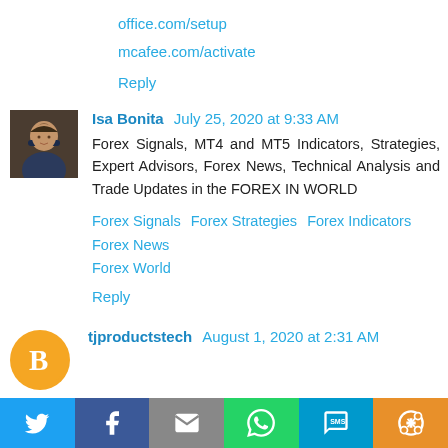office.com/setup
mcafee.com/activate
Reply
Isa Bonita  July 25, 2020 at 9:33 AM
Forex Signals, MT4 and MT5 Indicators, Strategies, Expert Advisors, Forex News, Technical Analysis and Trade Updates in the FOREX IN WORLD
Forex Signals  Forex Strategies  Forex Indicators  Forex News  Forex World
Reply
tjproductstech  August 1, 2020 at 2:31 AM
Hi, Very nice article, I hope you will publish again such type of
[Figure (infographic): Social share bar with Twitter, Facebook, Email, WhatsApp, SMS, and More buttons]